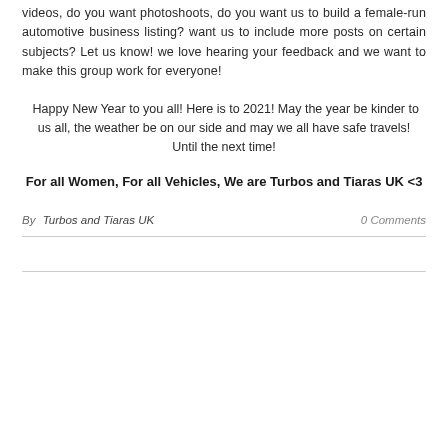videos, do you want photoshoots, do you want us to build a female-run automotive business listing? want us to include more posts on certain subjects? Let us know! we love hearing your feedback and we want to make this group work for everyone!
Happy New Year to you all! Here is to 2021! May the year be kinder to us all, the weather be on our side and may we all have safe travels!
Until the next time!
For all Women, For all Vehicles, We are Turbos and Tiaras UK <3
By Turbos and Tiaras UK    0 Comments